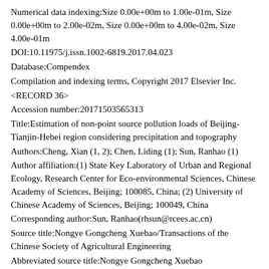Numerical data indexing:Size 0.00e+00m to 1.00e-01m, Size 0.00e+00m to 2.00e-02m, Size 0.00e+00m to 4.00e-02m, Size 4.00e-01m
DOI:10.11975/j.issn.1002-6819.2017.04.023
Database:Compendex
Compilation and indexing terms, Copyright 2017 Elsevier Inc.
<RECORD 36>
Accession number:20171503565313
Title:Estimation of non-point source pollution loads of Beijing-Tianjin-Hebei region considering precipitation and topography
Authors:Cheng, Xian (1, 2); Chen, Liding (1); Sun, Ranhao (1)
Author affiliation:(1) State Key Laboratory of Urban and Regional Ecology, Research Center for Eco-environmental Sciences, Chinese Academy of Sciences, Beijing; 100085, China; (2) University of Chinese Academy of Sciences, Beijing; 100049, China
Corresponding author:Sun, Ranhao(rhsun@rcees.ac.cn)
Source title:Nongye Gongcheng Xuebao/Transactions of the Chinese Society of Agricultural Engineering
Abbreviated source title:Nongye Gongcheng Xuebao
Volume:33